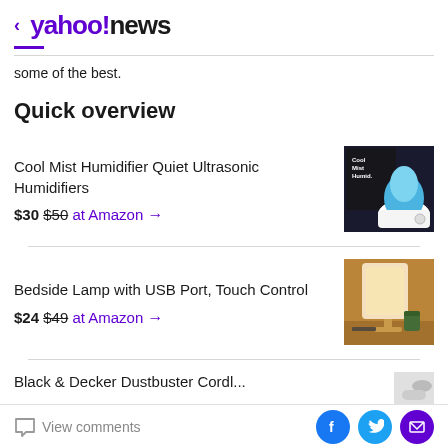< yahoo!news
some of the best.
Quick overview
Cool Mist Humidifier Quiet Ultrasonic Humidifiers
$30 $50 at Amazon →
[Figure (photo): Cool Mist Humidifier product image showing blue humidifier with packaging box]
Bedside Lamp with USB Port, Touch Control
$24 $49 at Amazon →
[Figure (photo): Bedside lamp glowing warmly on a table]
Black & Decker Dustbuster Cordless...
[Figure (photo): Partial image of a product (Black & Decker)]
View comments